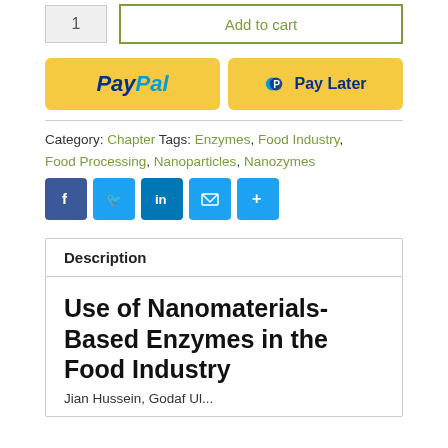[Figure (screenshot): Quantity input box showing '1' and 'Add to cart' button with olive/green border]
[Figure (screenshot): PayPal payment buttons: 'PayPal' button and 'Pay Later' button, both with yellow background]
Category: Chapter Tags: Enzymes, Food Industry, Food Processing, Nanoparticles, Nanozymes
[Figure (screenshot): Social share icons: Facebook, Twitter, LinkedIn, Email, Share+]
Description
Use of Nanomaterials-Based Enzymes in the Food Industry
Jian Hussein, Godaf Ul...